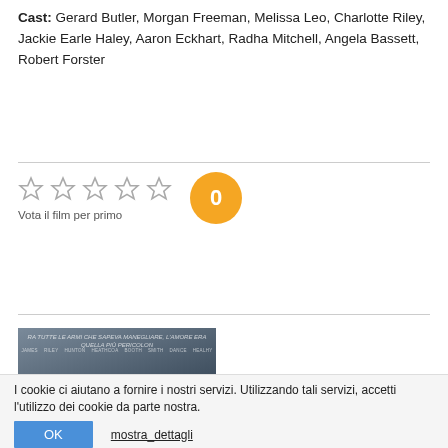Cast: Gerard Butler, Morgan Freeman, Melissa Leo, Charlotte Riley, Jackie Earle Haley, Aaron Eckhart, Radha Mitchell, Angela Bassett, Robert Forster
[Figure (other): Star rating widget: 5 empty stars with label 'Vota il film per primo' and a golden circle with '0']
[Figure (photo): Movie poster with two figures in fantasy/medieval setting with text quotes: 'UN FILM CHE È GIA CULT.' and 'DANNATAMENTE ROMANTICO!']
I cookie ci aiutano a fornire i nostri servizi. Utilizzando tali servizi, accetti l'utilizzo dei cookie da parte nostra.
OK    mostra_dettagli